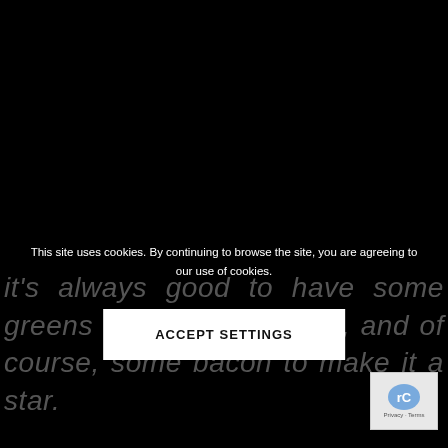[Figure (photo): Dark/black background image taking up the majority of the page]
it's always good to have some greens added into a meal, and of course, some bacon to make it a star.
This site uses cookies. By continuing to browse the site, you are agreeing to our use of cookies.
ACCEPT SETTINGS